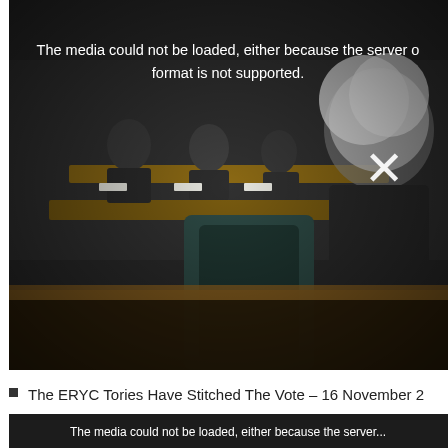[Figure (photo): Dark video player showing a council chamber scene with people seated at desks. An error message reads 'The media could not be loaded, either because the server or format is not supported.' A white X close button is visible. The background shows people in suits seated at a council table.]
The ERYC Tories Have Stitched The Vote – 16 November 2...
[Figure (screenshot): Second dark video player block at the bottom, partially visible with error text beginning 'The media could not be loaded, either because the server...']